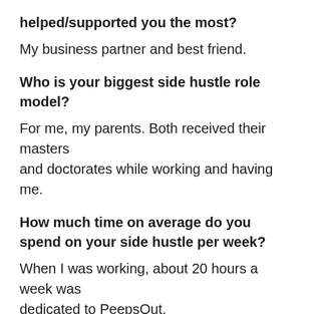helped/supported you the most?
My business partner and best friend.
Who is your biggest side hustle role model?
For me, my parents. Both received their masters and doctorates while working and having me.
How much time on average do you spend on your side hustle per week?
When I was working, about 20 hours a week was dedicated to PeepsOut.
What was the biggest element holding you back from starting and how did you overcome it?
Start-up money. We found a perfect rich guy to